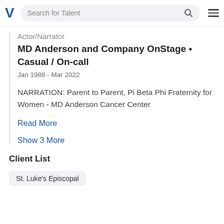V  Search for Talent
Actor/Narrator
MD Anderson and Company OnStage • Casual / On-call
Jan 1988 - Mar 2022
NARRATION: Parent to Parent, Pi Beta Phi Fraternity for Women - MD Anderson Cancer Center
Read More
Show 3 More
Client List
St. Luke's Episcopal